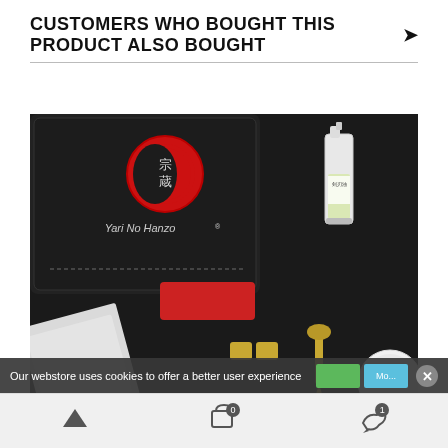CUSTOMERS WHO BOUGHT THIS PRODUCT ALSO BOUGHT
[Figure (photo): A black zippered pouch branded 'Yari No Hanzo' with a red circular logo containing Japanese characters, accompanied by a small spray bottle of oil, a red rectangular block, two small brass cylinders, a brass pin/spike tool, white fabric pieces, and a round white cleaning pad, all arranged on a dark surface.]
Our webstore uses cookies to offer a better user experience